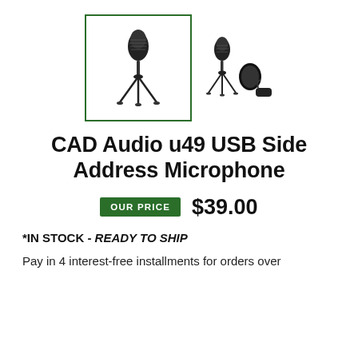[Figure (photo): Two product images of CAD Audio u49 USB microphone on tripod stand. Left image in green-bordered box shows microphone on stand. Right image shows microphone with accessories including pop filter and cable.]
CAD Audio u49 USB Side Address Microphone
OUR PRICE $39.00
*IN STOCK - READY TO SHIP
Pay in 4 interest-free installments for orders over